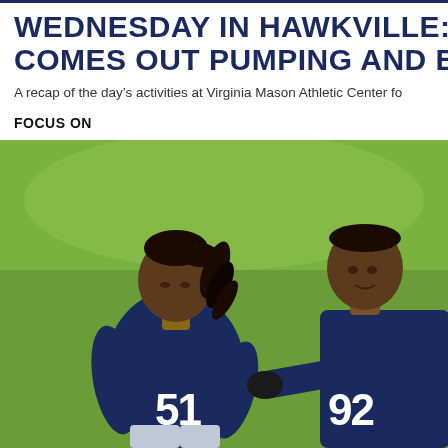WEDNESDAY IN HAWKVILLE: COMES OUT PUMPING AND BU
A recap of the day's activities at Virginia Mason Athletic Center fo
FOCUS ON
[Figure (photo): Two Seattle Seahawks players in navy blue jerseys at practice. Player #51 on the left with dreadlocks, player #92 on the right reaching out to touch #51's shoulder. Green field background.]